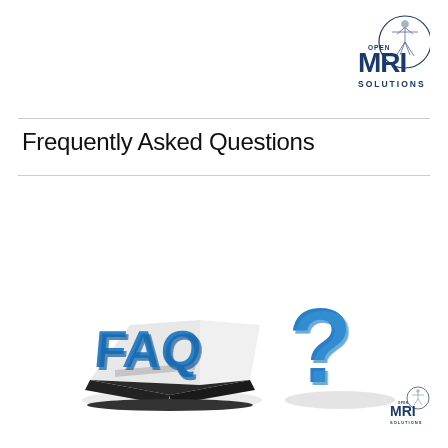[Figure (logo): Open MRI Solutions logo with Vitruvian Man figure in a circle, text OPEN MRI SOLUTIONS in dark navy blue]
Frequently Asked Questions
[Figure (illustration): 3D illustration of a blue FAQ book with blue letters FAQ on top and a blue 3D question mark with shadow next to it]
[Figure (logo): Small Open MRI Solutions logo in bottom right corner]